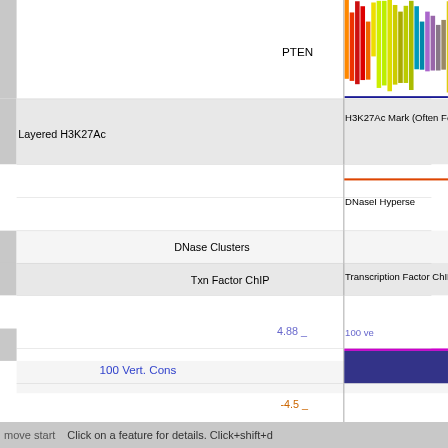[Figure (screenshot): UCSC Genome Browser screenshot showing genomic tracks for the PTEN gene region. Tracks visible include: colorful bar chart (PTEN signal), Layered H3K27Ac, DNase Clusters, Txn Factor ChIP, 100 Vert. Cons (conservation score with value 4.88 and -4.5, shown as dark blue/purple bar), Gaps, and multi-species alignment rows (Human, Rhesus, Mouse, Dog, Elephant, Chicken, X_tropicalis, Zebrafish) shown as light blue bars, Common dbSNP(155), RepeatMasker. Right side shows partial track labels: H3K27Ac Mark (Often Found...), DNaseI Hyperse..., Transcription Factor ChIP-s..., 100 ve...]
Click on a feature for details. Click+shift+d...